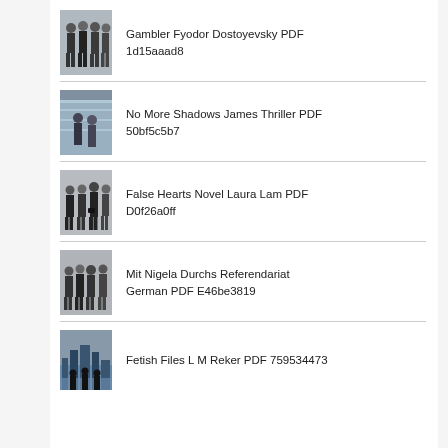Gambler Fyodor Dostoyevsky PDF 1d15aaad8
No More Shadows James Thriller PDF 50bf5c5b7
False Hearts Novel Laura Lam PDF D0f26a0ff
Mit Nigela Durchs Referendariat German PDF E46be3819
Fetish Files L M Reker PDF 759534473